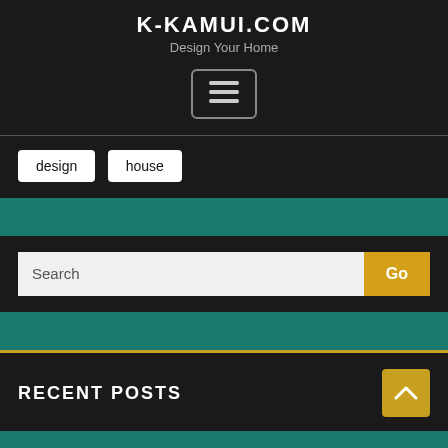K-KAMUI.COM
Design Your Home
[Figure (other): Hamburger menu icon button with three horizontal lines inside a rounded rectangle border]
design
house
Search
Go
RECENT POSTS